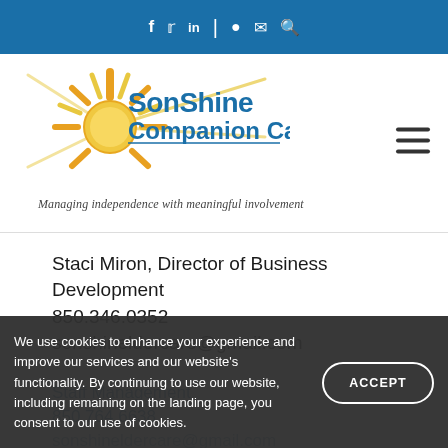f  t  in  |  (person icon)  (phone icon)  (search icon)
[Figure (logo): SonShine Companion Care logo with sun rays graphic and tagline 'Managing independence with meaningful involvement']
Staci Miron, Director of Business Development
850.346.0352
sonshineldercare@gmail.com
Staff Management
850.764.6638
[email partially visible]
We use cookies to enhance your experience and improve our services and our website's functionality. By continuing to use our website, including remaining on the landing page, you consent to our use of cookies.
ACCEPT